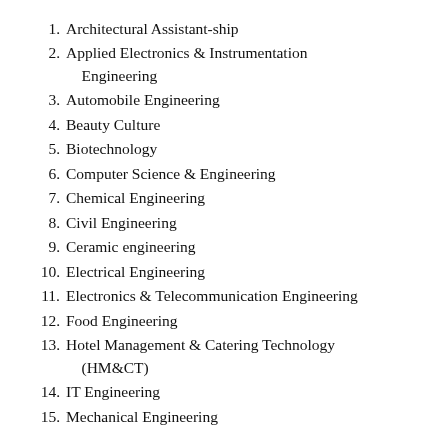1. Architectural Assistant-ship
2. Applied Electronics & Instrumentation Engineering
3. Automobile Engineering
4. Beauty Culture
5. Biotechnology
6. Computer Science & Engineering
7. Chemical Engineering
8. Civil Engineering
9. Ceramic engineering
10. Electrical Engineering
11. Electronics & Telecommunication Engineering
12. Food Engineering
13. Hotel Management & Catering Technology (HM&CT)
14. IT Engineering
15. Mechanical Engineering